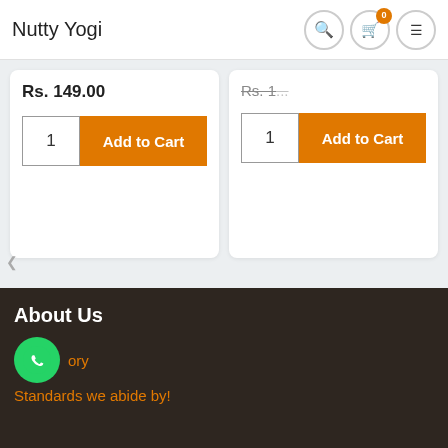Nutty Yogi
Rs. 149.00
[Figure (screenshot): Add to Cart button with quantity input showing 1 on the left product card]
[Figure (screenshot): Add to Cart button with quantity input showing 1 on the right product card]
About Us
ory
Standards we abide by!